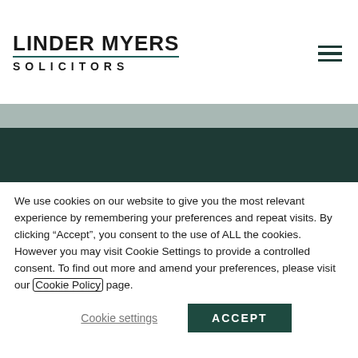[Figure (logo): Linder Myers Solicitors logo with firm name in bold uppercase and SOLICITORS in spaced caps below a dividing line]
[Figure (photo): Website banner image area with dark teal background and grey bars at top and bottom]
We use cookies on our website to give you the most relevant experience by remembering your preferences and repeat visits. By clicking “Accept”, you consent to the use of ALL the cookies. However you may visit Cookie Settings to provide a controlled consent. To find out more and amend your preferences, please visit our Cookie Policy page.